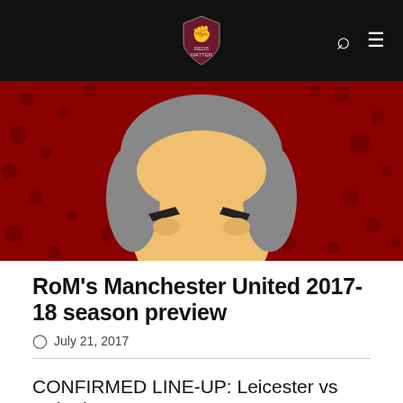Reds Matter (logo) — navigation header with search and menu icons
[Figure (illustration): Cartoon/illustrated stylized face of a man with dark eyebrows on a red textured background]
RoM's Manchester United 2017-18 season preview
July 21, 2017
CONFIRMED LINE-UP: Leicester vs United
September 1, 2022
Antony: I'm honoured to represent the badge